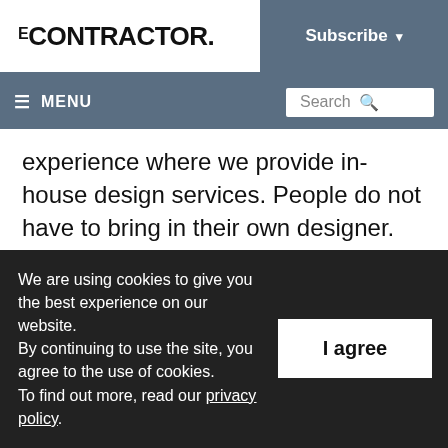CONTRACTOR | Subscribe
≡ MENU | Search
experience where we provide in-house design services. People do not have to bring in their own designer. Karl and I work together to bring their vision to life,” explains Katherine.
Initially, there were some hard parts to this
We are using cookies to give you the best experience on our website.
By continuing to use the site, you agree to the use of cookies.
To find out more, read our privacy policy.